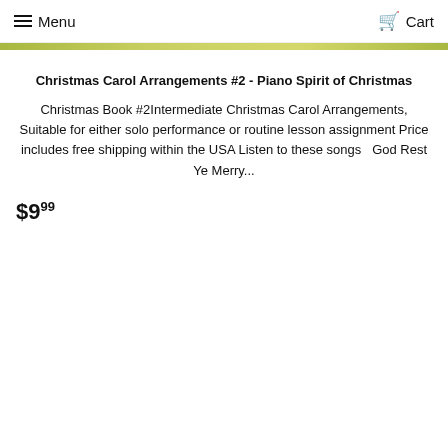Menu   Cart
Christmas Carol Arrangements #2 - Piano Spirit of Christmas
Christmas Book #2Intermediate Christmas Carol Arrangements, Suitable for either solo performance or routine lesson assignment Price includes free shipping within the USA Listen to these songs   God Rest Ye Merry...
$9.99